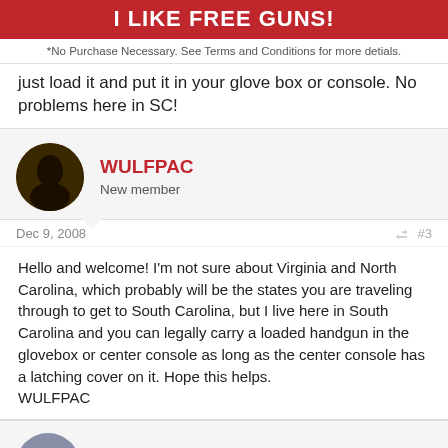I LIKE FREE GUNS!
*No Purchase Necessary. See Terms and Conditions for more detials.
just load it and put it in your glove box or console. No problems here in SC!
WULFPAC
New member
Dec 9, 2008
#3
Hello and welcome! I'm not sure about Virginia and North Carolina, which probably will be the states you are traveling through to get to South Carolina, but I live here in South Carolina and you can legally carry a loaded handgun in the glovebox or center console as long as the center console has a latching cover on it. Hope this helps.
WULFPAC
JonEllison
New member